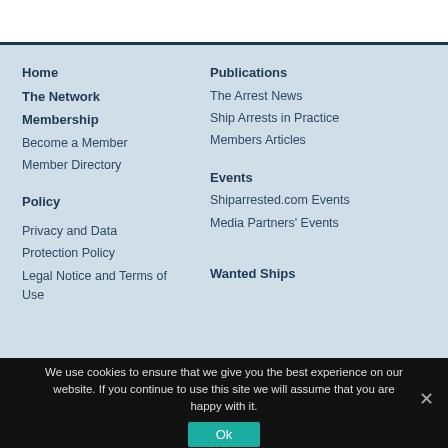Home
The Network
Membership
Become a Member
Member Directory
Policy
Privacy and Data
Protection Policy
Legal Notice and Terms of Use
Publications
The Arrest News
Ship Arrests in Practice
Members Articles
Events
Shiparrested.com Events
Media Partners' Events
Wanted Ships
We use cookies to ensure that we give you the best experience on our website. If you continue to use this site we will assume that you are happy with it.